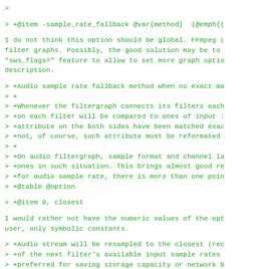>
> +@item -sample_rate_fallback @var{method}  (@emph{(
I do not think this option should be global. FFmpeg (
filter graphs. Possibly, the good solution may be to
"sws_flags=" feature to allow to set more graph optio
description.
> +Audio sample rate fallback method when no exact ma
> +
> +Whenever the filtergraph connects its filters each
> +on each filter will be compared to ones of input :
> +attribute on the both sides have been matched exac
> +not, of course, such attribute must be reformated
> +
> +On audio filtergraph, sample format and channel la
> +ones in such situation. This brings almost good re
> +for audio sample rate, there is more than one poin
> +@table @option
> +@item 0, closest
I would rather not have the numeric values of the opt
user, only symbolic constants.
> +Audio stream will be resampled to the closest (rec
> +of the next filter's available input sample rates
> +preferred for saving storage capacity or network b
> +sound quality.
> +@item 1, higher